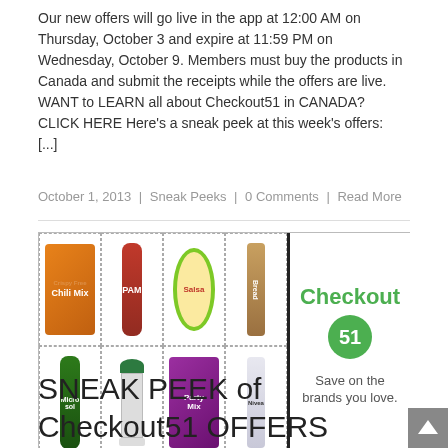Our new offers will go live in the app at 12:00 AM on Thursday, October 3 and expire at 11:59 PM on Wednesday, October 9. Members must buy the products in Canada and submit the receipts while the offers are live. WANT to LEARN all about Checkout51 in CANADA?  CLICK HERE Here's a sneak peek at this week's offers:  [...]
October 1, 2013  |  Sneak Peeks  |  0 Comments  |  Read More
[Figure (photo): Checkout51 product grid showing 8 grocery/household products in a 4x2 grid with dashed borders. Right sidebar shows Checkout 51 logo with green circle and text 'Save on the brands you love.']
SNEAK PEEK of Checkout51 OFFERS (Aug 8 – 14, 2013) – Lots of Deals this Week!